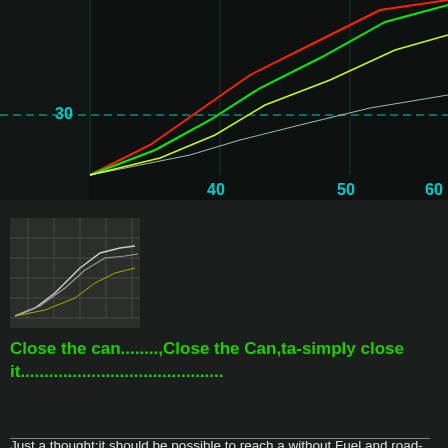[Figure (continuous-plot): Dark background performance/dyno chart with multiple colored lines (red, green, yellow/white, cyan) rising from lower left, with dashed horizontal line at y=30 and x-axis labels 40, 50, 60]
[Figure (continuous-plot): Small thumbnail dyno chart with white/grey curves on dark grid background]
Close the can........,Close the Can,ta-simply close it...........................................
Just a thought:it should be possible to reach a without Fuel and road-rideable RC51 weight of 155kg (345lbs),precondition hardcore measurements.I think you're able to find  another (based on my own RC51) 4-5kg kg at the Engine  (incl. removing all quietening gears),somewhat 1.5 -2 kg by Alloy screws and Titan-Axles and bolts,1.5kg by going for 2 in 1,maybe 1kg by verylight rearbrake assy,3kg by a light cpl.front-